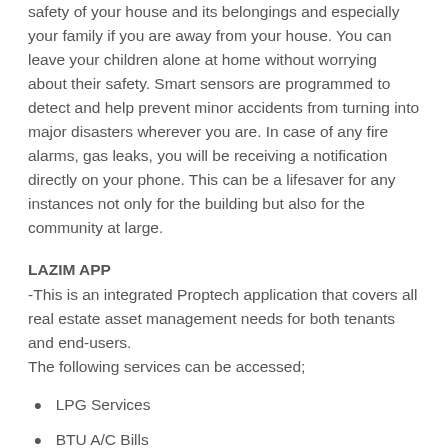safety of your house and its belongings and especially your family if you are away from your house. You can leave your children alone at home without worrying about their safety. Smart sensors are programmed to detect and help prevent minor accidents from turning into major disasters wherever you are. In case of any fire alarms, gas leaks, you will be receiving a notification directly on your phone. This can be a lifesaver for any instances not only for the building but also for the community at large.
LAZIM APP
-This is an integrated Proptech application that covers all real estate asset management needs for both tenants and end-users.
The following services can be accessed;
LPG Services
BTU A/C Bills
Title Deed